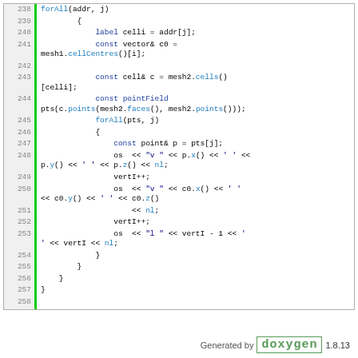[Figure (screenshot): Source code listing showing C++ code lines 238-260, with green vertical bar separating line numbers from code. Keywords and identifiers in blue, strings in dark blue, comments in green.]
Generated by doxygen 1.8.13